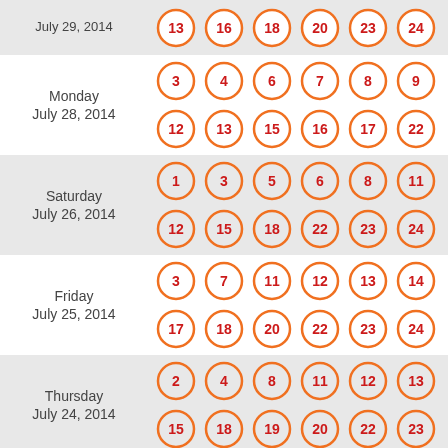July 29, 2014
Monday July 28, 2014
Saturday July 26, 2014
Friday July 25, 2014
Thursday July 24, 2014